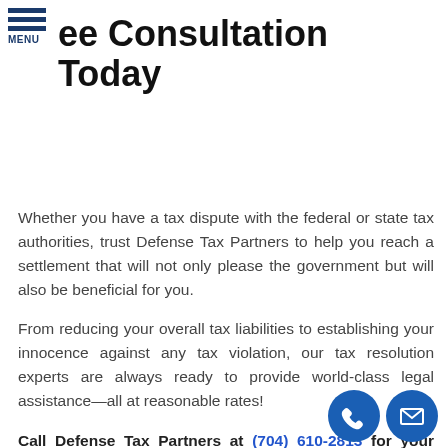MENU
ee Consultation Today
Whether you have a tax dispute with the federal or state tax authorities, trust Defense Tax Partners to help you reach a settlement that will not only please the government but will also be beneficial for you.
From reducing your overall tax liabilities to establishing your innocence against any tax violation, our tax resolution experts are always ready to provide world-class legal assistance—all at reasonable rates!
Call Defense Tax Partners at (704) 610-2813 for your Free Consultation with a Bellarthur Resolution expert!